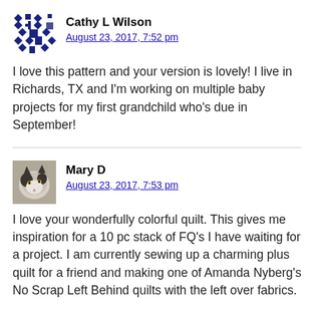[Figure (illustration): Blue geometric quilt pattern avatar for Cathy L Wilson]
Cathy L Wilson
August 23, 2017, 7:52 pm
I love this pattern and your version is lovely! I live in Richards, TX and I'm working on multiple baby projects for my first grandchild who's due in September!
[Figure (photo): Black and white cat photo avatar for Mary D]
Mary D
August 23, 2017, 7:53 pm
I love your wonderfully colorful quilt. This gives me inspiration for a 10 pc stack of FQ's I have waiting for a project. I am currently sewing up a charming plus quilt for a friend and making one of Amanda Nyberg's No Scrap Left Behind quilts with the left over fabrics.